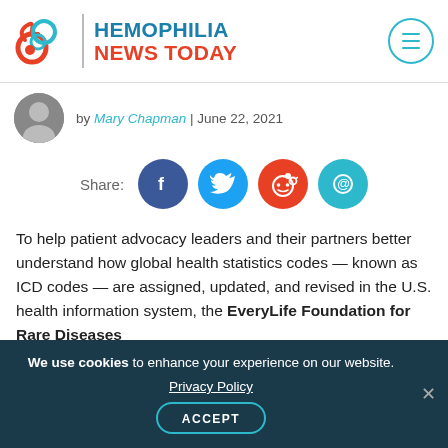HEMOPHILIA NEWS TODAY
by Mary Chapman | June 22, 2021
[Figure (infographic): Social share icons: Facebook, Twitter, Reddit, Email with Share label]
To help patient advocacy leaders and their partners better understand how global health statistics codes — known as ICD codes — are assigned, updated, and revised in the U.S. health information system, the EveryLife Foundation for Rare Diseases
We use cookies to enhance your experience on our website. Privacy Policy ACCEPT